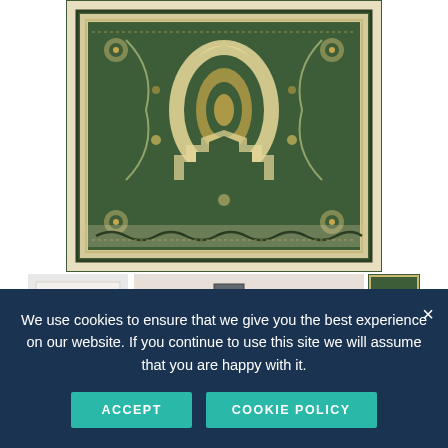[Figure (photo): Close-up photograph of a traditional Persian/Oriental rug with dark green background, intricate floral and medallion patterns in cream, gold, and beige tones, featuring multiple decorative borders]
[Figure (photo): Three thumbnail images of rugs: a white textured rug, a room scene with brown sofa and green rug, and a close-up of the green patterned rug. A fourth thumbnail shows a play button icon for video.]
We use cookies to ensure that we give you the best experience on our website. If you continue to use this site we will assume that you are happy with it.
ACCEPT
COOKIE POLICY